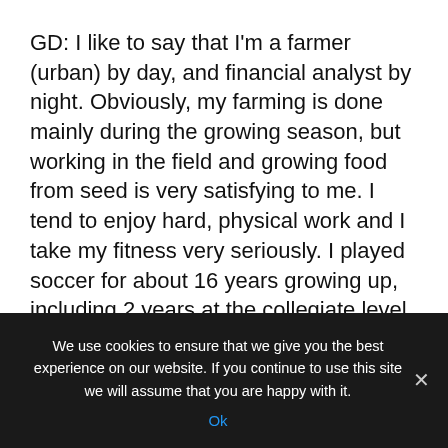GD: I like to say that I'm a farmer (urban) by day, and financial analyst by night. Obviously, my farming is done mainly during the growing season, but working in the field and growing food from seed is very satisfying to me. I tend to enjoy hard, physical work and I take my fitness very seriously. I played soccer for about 16 years growing up, including 2 years at the collegiate level. Travelling is very enjoyable to me too. Usually, I end up back in Europe, as most of my family still lives there. Every so often, I enjoy venturing to exotic destinations.
RM: You are a young market analyst and yet you already
We use cookies to ensure that we give you the best experience on our website. If you continue to use this site we will assume that you are happy with it. Ok